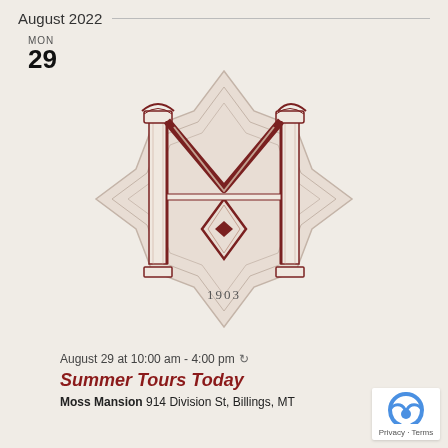August 2022
MON
29
[Figure (logo): Moss Mansion ornate logo featuring a decorative M monogram with Art Nouveau styling, star-burst geometric border, and '1903' text below]
August 29 at 10:00 am - 4:00 pm
Summer Tours Today
Moss Mansion 914 Division St, Billings, MT